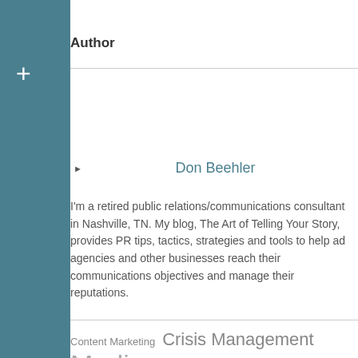Author
Don Beehler
I'm a retired public relations/communications consultant in Nashville, TN. My blog, The Art of Telling Your Story, provides PR tips, tactics, strategies and tools to help ad agencies and other businesses reach their communications objectives and manage their reputations.
Content Marketing  Crisis Management  Media Relations  Publicity  Public Relations  Social Media